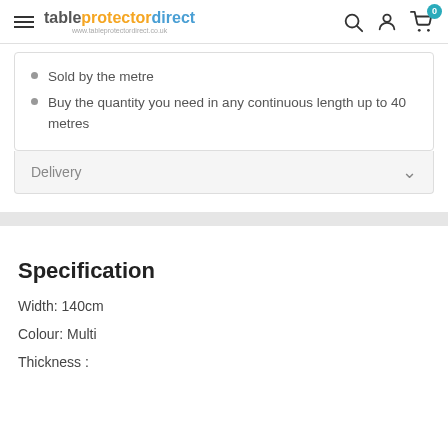tableprotectordirect — www.tableprotectordirect.co.uk
Sold by the metre
Buy the quantity you need in any continuous length up to 40 metres
Delivery
Specification
Width: 140cm
Colour: Multi
Thickness :